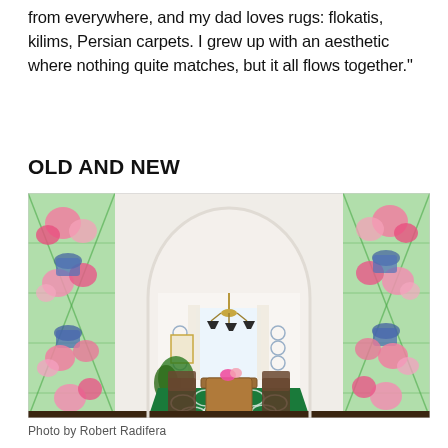from everywhere, and my dad loves rugs: flokatis, kilims, Persian carpets. I grew up with an aesthetic where nothing quite matches, but it all flows together."
OLD AND NEW
[Figure (photo): Dining room viewed through an arched doorway, with green trellis rug, rattan table and chairs, chandelier, and floral wallpaper panels on either side of the arch.]
Photo by Robert Radifera